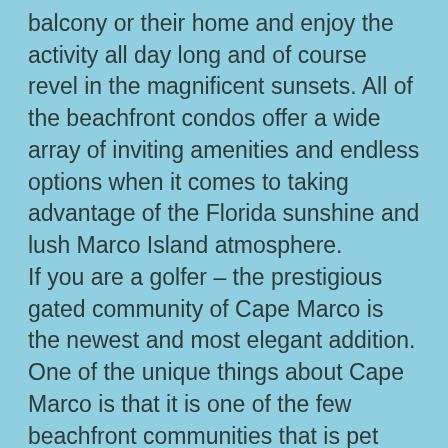balcony or their home and enjoy the activity all day long and of course revel in the magnificent sunsets. All of the beachfront condos offer a wide array of inviting amenities and endless options when it comes to taking advantage of the Florida sunshine and lush Marco Island atmosphere. If you are a golfer – the prestigious gated community of Cape Marco is the newest and most elegant addition. One of the unique things about Cape Marco is that it is one of the few beachfront communities that is pet friendly. Another special feature is the dock, where it's locally known as the place to catch huge fish. Condos in Cape Marco are the Belize, Tampico, and Veracruz. The Hideaway Beach Club includes Royal